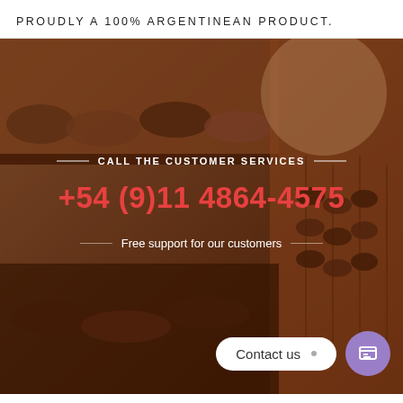PROUDLY A 100% ARGENTINEAN PRODUCT.
[Figure (photo): Sepia-toned photograph of a shoe store with rows of shoes displayed on shelves and hanging in the background]
CALL THE CUSTOMER SERVICES
+54 (9)11 4864-4575
Free support for our customers
Contact us